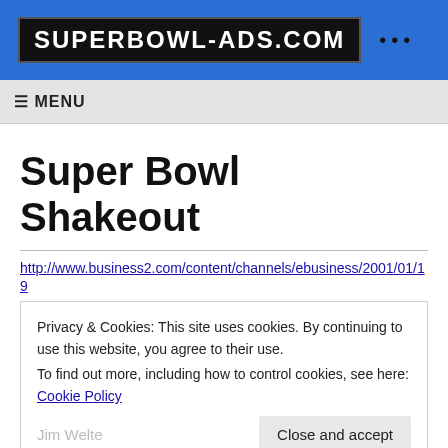SUPERBOWL-ADS.COM
≡ MENU
Super Bowl Shakeout
http://www.business2.com/content/channels/ebusiness/2001/01/19
Privacy & Cookies: This site uses cookies. By continuing to use this website, you agree to their use.
To find out more, including how to control cookies, see here: Cookie Policy
Jim Welte
Seemingly content to let their nascent dot-com counterparts